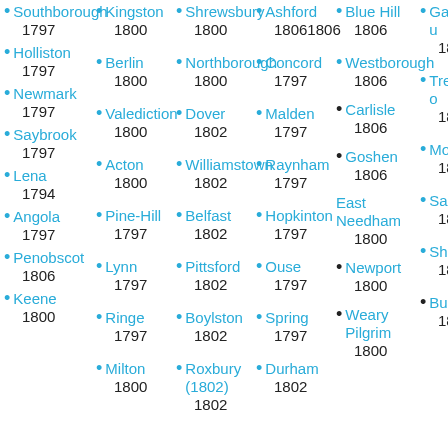Southborough 1797
Holliston 1797
Newmark 1797
Saybrook 1797
Lena 1794
Angola 1797
Penobscot 1806
Keene 1800
Kingston 1800
Berlin 1800
Valediction 1800
Acton 1800
Pine-Hill 1797
Lynn 1797
Ringe 1797
Milton 1800
Shrewsbury 1800
Northborough 1800
Dover 1802
Williamstown 1802
Belfast 1802
Pittsford 1802
Boylston 1802
Roxbury (1802) 1802
Ashford 1806
Concord 1797
Malden 1797
Raynham 1797
Hopkinton 1797
Ouse 1797
Spring 1797
Durham 1802
Blue Hill 1806
Westborough 1806
Carlisle 1806
Goshen 1806
East Needham 1800
Newport 1800
Weary Pilgrim 1800
Gardu... 1806
Trento... 1806
Morta... 1806
Saco 1806
Shirle... 1806
Buxto... 1806